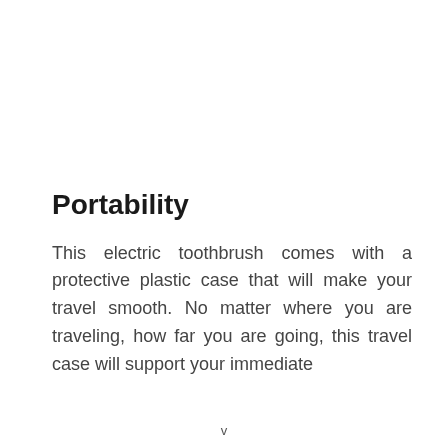Portability
This electric toothbrush comes with a protective plastic case that will make your travel smooth. No matter where you are traveling, how far you are going, this travel case will support your immediate